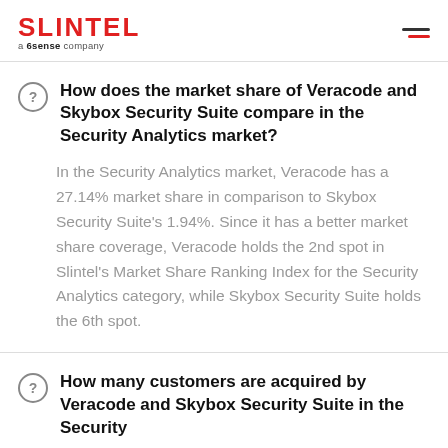SLINTEL a 6sense company
How does the market share of Veracode and Skybox Security Suite compare in the Security Analytics market?
In the Security Analytics market, Veracode has a 27.14% market share in comparison to Skybox Security Suite's 1.94%. Since it has a better market share coverage, Veracode holds the 2nd spot in Slintel's Market Share Ranking Index for the Security Analytics category, while Skybox Security Suite holds the 6th spot.
How many customers are acquired by Veracode and Skybox Security Suite in the Security